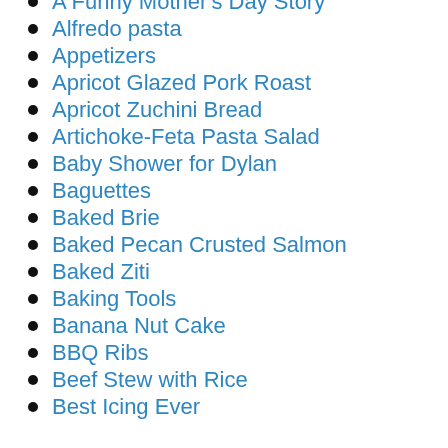A Funny Mother's Day Story
Alfredo pasta
Appetizers
Apricot Glazed Pork Roast
Apricot Zuchini Bread
Artichoke-Feta Pasta Salad
Baby Shower for Dylan
Baguettes
Baked Brie
Baked Pecan Crusted Salmon
Baked Ziti
Baking Tools
Banana Nut Cake
BBQ Ribs
Beef Stew with Rice
Best Icing Ever